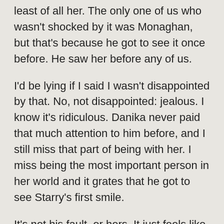least of all her. The only one of us who wasn't shocked by it was Monaghan, but that's because he got to see it once before. He saw her before any of us.
I'd be lying if I said I wasn't disappointed by that. No, not disappointed: jealous. I know it's ridiculous. Danika never paid that much attention to him before, and I still miss that part of being with her. I miss being the most important person in her world and it grates that he got to see Starry's first smile.
It's not his fault, or hers. It just feels like she's... slipping away from me and I'm not sure how to get her back.
Her avatar is made of light, but sometimes I catch myself starting to reach out to her. As if I might be able to take her hand. Even though she etches herself in orange light and doesn't look solid, I find myself